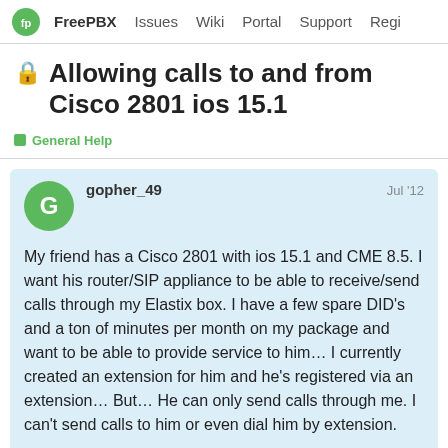FreePBX  Issues  Wiki  Portal  Support  Regi
🔒 Allowing calls to and from Cisco 2801 ios 15.1
General Help
gopher_49
Jul '12
My friend has a Cisco 2801 with ios 15.1 and CME 8.5. I want his router/SIP appliance to be able to receive/send calls through my Elastix box. I have a few spare DID's and a ton of minutes per month on my package and want to be able to provide service to him… I currently created an extension for him and he's registered via an extension… But… He can only send calls through me. I can't send calls to him or even dial him by extension.

What am I have a DID poir the same symptoms as when dialing him
1 / 9